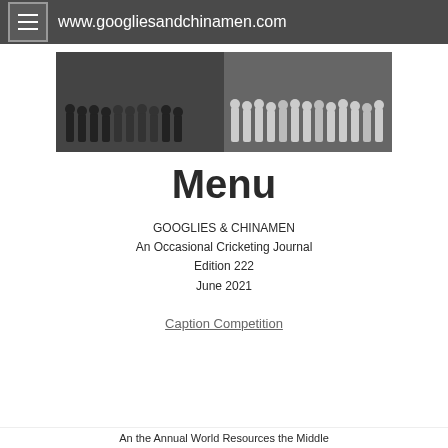www.googliesandchinamen.com
[Figure (photo): Black and white photograph of two cricket teams posed together]
Menu
GOOGLIES & CHINAMEN
An Occasional Cricketing Journal
Edition 222
June 2021
Caption Competition
An the Annual World Resources the Middle